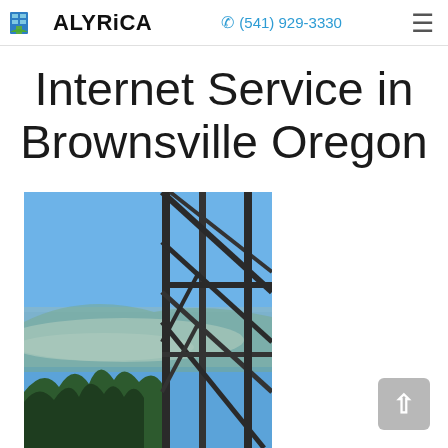ALYRICA | ☎ (541) 929-3330
Internet Service in Brownsville Oregon
[Figure (photo): View from a fire lookout tower through steel frame structure, showing a valley with fog/mist below and evergreen trees in the foreground, blue sky above.]